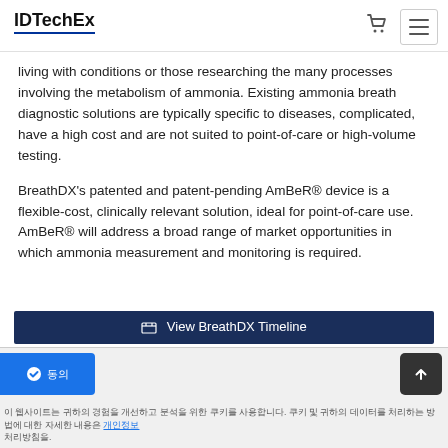IDTechEx
living with conditions or those researching the many processes involving the metabolism of ammonia. Existing ammonia breath diagnostic solutions are typically specific to diseases, complicated, have a high cost and are not suited to point-of-care or high-volume testing.
BreathDX's patented and patent-pending AmBeR® device is a flexible-cost, clinically relevant solution, ideal for point-of-care use. AmBeR® will address a broad range of market opportunities in which ammonia measurement and monitoring is required.
View BreathDX Timeline